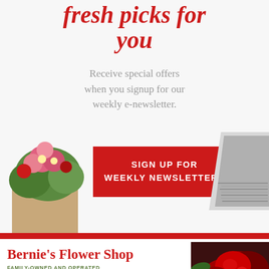fresh picks for you
Receive special offers when you signup for our weekly e-newsletter.
[Figure (infographic): Red button with white text reading SIGN UP FOR WEEKLY NEWSLETTERS, with flowers on left and laptop on right]
[Figure (logo): Bernie's Flower Shop logo with red roses photo, text: Bernie's Flower Shop, FAMILY-OWNED AND OPERATED FOR OVER 60 YEARS]
about us
Bernie's Flower Shop is a local flower shop in